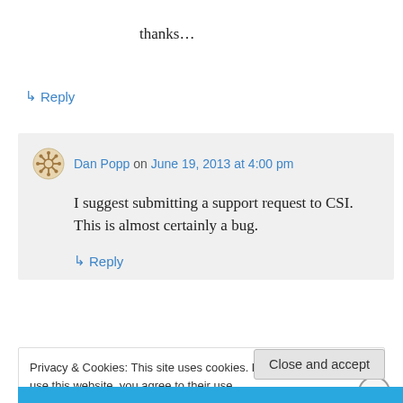thanks…
↳ Reply
Dan Popp on June 19, 2013 at 4:00 pm
I suggest submitting a support request to CSI. This is almost certainly a bug.
↳ Reply
Privacy & Cookies: This site uses cookies. By continuing to use this website, you agree to their use.
To find out more, including how to control cookies, see here: Cookie Policy
Close and accept